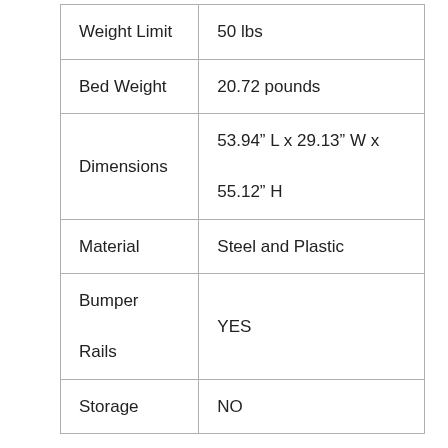|  |  |
| --- | --- |
| Weight Limit | 50 lbs |
| Bed Weight | 20.72 pounds |
| Dimensions | 53.94” L x 29.13” W x 55.12” H |
| Material | Steel and Plastic |
| Bumper Rails | YES |
| Storage | NO |